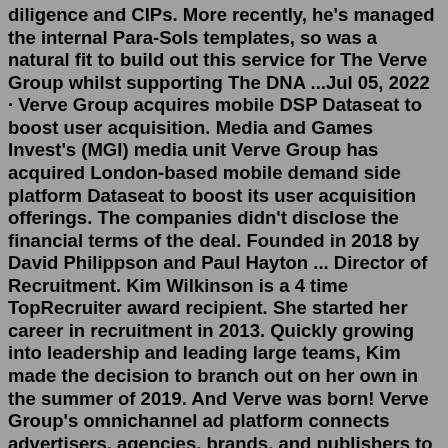diligence and CIPs. More recently, he's managed the internal Para-Sols templates, so was a natural fit to build out this service for The Verve Group whilst supporting The DNA ...Jul 05, 2022 · Verve Group acquires mobile DSP Dataseat to boost user acquisition. Media and Games Invest's (MGI) media unit Verve Group has acquired London-based mobile demand side platform Dataseat to boost its user acquisition offerings. The companies didn't disclose the financial terms of the deal. Founded in 2018 by David Philippson and Paul Hayton ... Director of Recruitment. Kim Wilkinson is a 4 time TopRecruiter award recipient. She started her career in recruitment in 2013. Quickly growing into leadership and leading large teams, Kim made the decision to branch out on her own in the summer of 2019. And Verve was born! Verve Group's omnichannel ad platform connects advertisers, agencies, brands, and publishers to people in real time. With a privacy-first approach, Verve Group offers advertising innovation at ... Cross-Channel Campaign With Verve Group Our